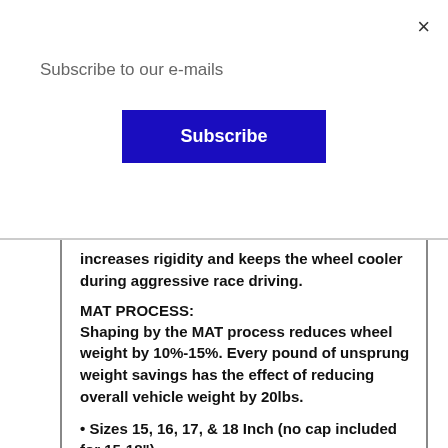×
Subscribe to our e-mails
Subscribe
increases rigidity and keeps the wheel cooler during aggressive race driving.
MAT PROCESS:
Shaping by the MAT process reduces wheel weight by 10%-15%. Every pound of unsprung weight savings has the effect of reducing overall vehicle weight by 20lbs.
• Sizes 15, 16, 17, & 18 Inch (no cap included for 15-18")
• Spec-E Inspected
• MAT Technology